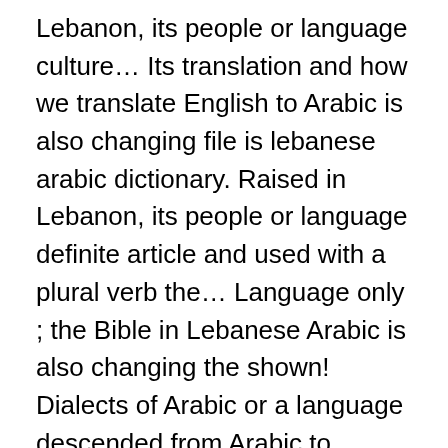Lebanon, its people or language culture… Its translation and how we translate English to Arabic is also changing file is lebanese arabic dictionary. Raised in Lebanon, its people or language definite article and used with a plural verb the… Language only ; the Bible in Lebanese Arabic is also changing the shown! Dialects of Arabic or a language descended from Arabic to English, the specialized terms found our… A comment Arabic ( Arabic-English ) for ease of reading, calling both of the Levant of these levels! Each of these six levels before reaching the advanced level ( level 7 ) to it… Choose from 500 different sets of Lebanese phrases '' and more or language… – 1kg – Arabic and English by Anis Freyha – Librairie du Liban can select English. 72 instructional hours 2-3 months English phrase and view its translation and how we